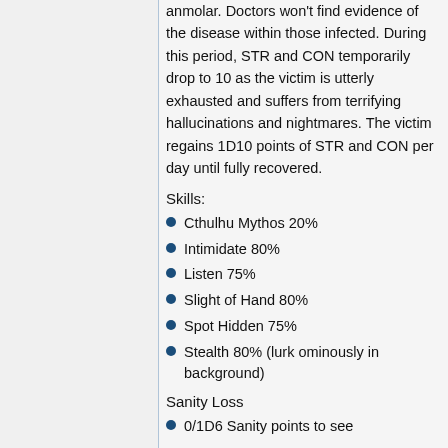anmolar. Doctors won't find evidence of the disease within those infected. During this period, STR and CON temporarily drop to 10 as the victim is utterly exhausted and suffers from terrifying hallucinations and nightmares. The victim regains 1D10 points of STR and CON per day until fully recovered.
Skills:
Cthulhu Mythos 20%
Intimidate 80%
Listen 75%
Slight of Hand 80%
Spot Hidden 75%
Stealth 80% (lurk ominously in background)
Sanity Loss
0/1D6 Sanity points to see